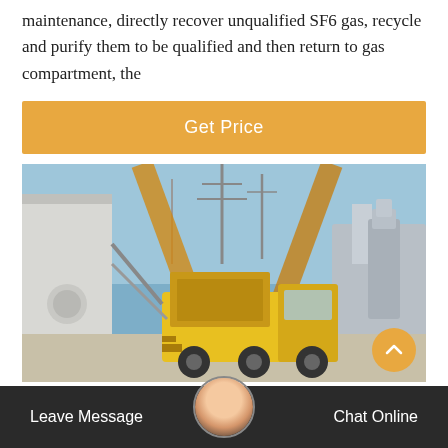maintenance, directly recover unqualified SF6 gas, recycle and purify them to be qualified and then return to gas compartment, the
[Figure (other): Button/call-to-action: orange rectangle with white text 'Get Price']
[Figure (photo): Outdoor industrial/electrical substation scene with a yellow maintenance truck in the foreground, large electrical equipment, cranes, and blue sky in the background.]
Leave Message   Chat Online